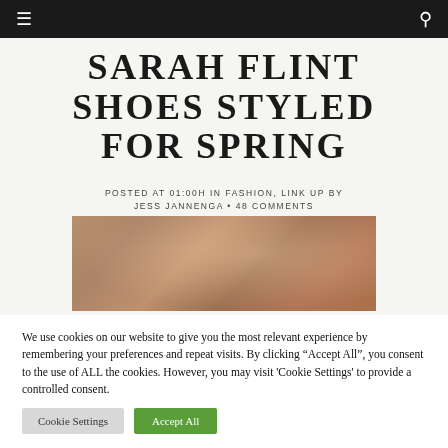≡  🔍
SARAH FLINT SHOES STYLED FOR SPRING
POSTED AT 01:00H IN FASHION, LINK UP BY JESS JANNENGA • 48 COMMENTS
[Figure (photo): Close-up photo of a woman's ankle wearing a strappy gold sandal heel, on a brick surface]
We use cookies on our website to give you the most relevant experience by remembering your preferences and repeat visits. By clicking "Accept All", you consent to the use of ALL the cookies. However, you may visit 'Cookie Settings' to provide a controlled consent.
Cookie Settings  Accept All